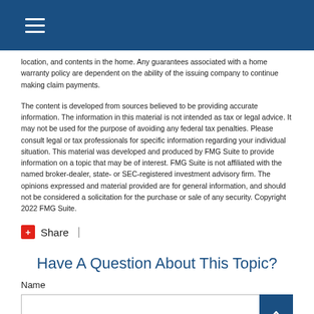location, and contents in the home. Any guarantees associated with a home warranty policy are dependent on the ability of the issuing company to continue making claim payments.
The content is developed from sources believed to be providing accurate information. The information in this material is not intended as tax or legal advice. It may not be used for the purpose of avoiding any federal tax penalties. Please consult legal or tax professionals for specific information regarding your individual situation. This material was developed and produced by FMG Suite to provide information on a topic that may be of interest. FMG Suite is not affiliated with the named broker-dealer, state- or SEC-registered investment advisory firm. The opinions expressed and material provided are for general information, and should not be considered a solicitation for the purchase or sale of any security. Copyright 2022 FMG Suite.
Share |
Have A Question About This Topic?
Name